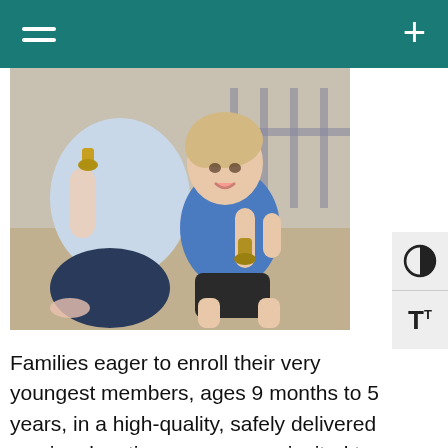navigation header with hamburger menu and plus button
[Figure (photo): A woman and a toddler sitting on the floor, both holding handbells. The woman wears a light blue striped shirt and jeans. The young child in a blue shirt appears engaged and happy during a music session.]
Families eager to enroll their very youngest members, ages 9 months to 5 years, in a high-quality, safely delivered music education program are invited to